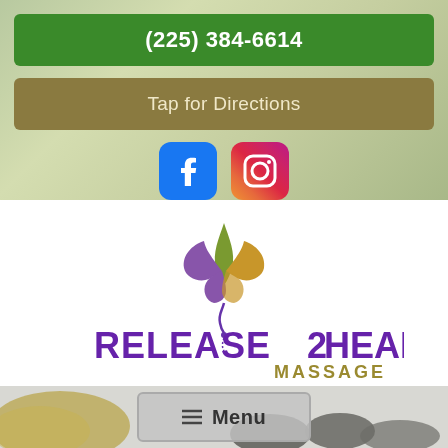(225) 384-6614
Tap for Directions
[Figure (logo): Facebook and Instagram social media icons]
[Figure (logo): Release2Heal Massage logo with decorative lotus/leaf graphic in purple, gold, and green, company name in purple bold text with MASSAGE in gold]
Menu